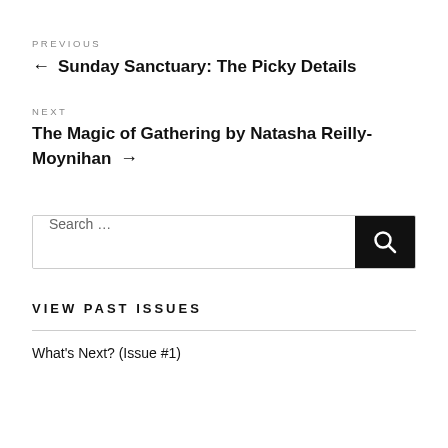PREVIOUS
← Sunday Sanctuary: The Picky Details
NEXT
The Magic of Gathering by Natasha Reilly-Moynihan →
Search …
VIEW PAST ISSUES
What's Next? (Issue #1)